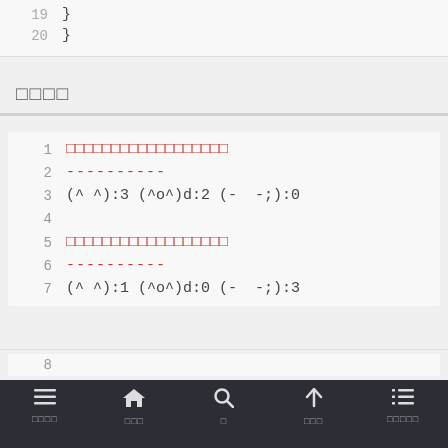19   }
20 }
□□□□
1  □□□□□□□□□□□□□□□□□
2  ----------
3  (^ ^):3 (^o^)d:2 (-  -;):0
4
5  □□□□□□□□□□□□□□□□□
6  ----------
7  (^ ^):1 (^o^)d:0 (-  -;):3
□□□□ □□□ □ □□□ □□□□□